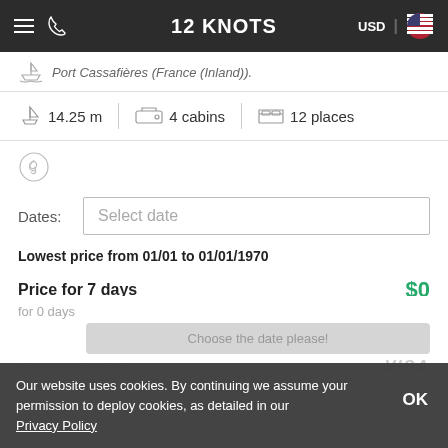12 KNOTS | USD
Port Cassafières (France (Inland))
14.25 m | 4 cabins | 12 places
Dates: Select date
Lowest price from 01/01 to 01/01/1970
Price for 7 days $0
Not included services
Our website uses cookies. By continuing we assume your permission to deploy cookies, as detailed in our Privacy Policy
for 0 days
Choose the date please!